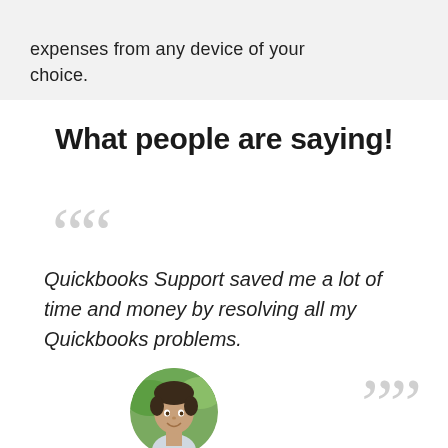expenses from any device of your choice.
What people are saying!
““
Quickbooks Support saved me a lot of time and money by resolving all my Quickbooks problems.
””
[Figure (photo): Circular avatar photo of a smiling young man outdoors with green background]